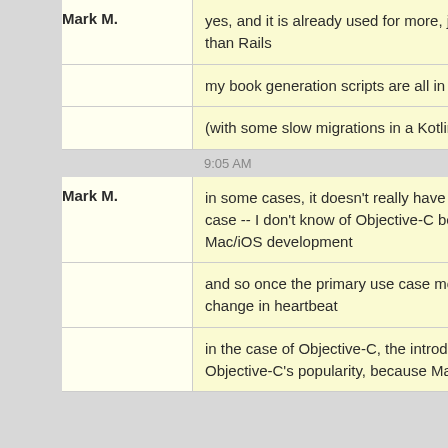Mark M. | yes, and it is already used for more, just as Ruby was used for more than Rails
my book generation scripts are all in Ruby, for example
(with some slow migrations in a Kotlin-y direction)
9:05 AM
Mark M. | in some cases, it doesn't really have "legs" beyond the primary use case -- I don't know of Objective-C being used for a ton outside of Mac/iOS development
and so once the primary use case moves on, the popularity can change in heartbeat
in the case of Objective-C, the introduction of Swift tanked Objective-C's popularity, because Mac/iOS moved en